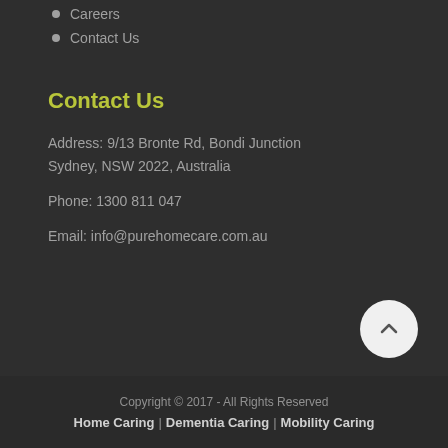Careers
Contact Us
Contact Us
Address: 9/13 Bronte Rd, Bondi Junction
Sydney, NSW 2022, Australia
Phone: 1300 811 047
Email: info@purehomecare.com.au
Copyright © 2017 - All Rights Reserved
Home Caring | Dementia Caring | Mobility Caring